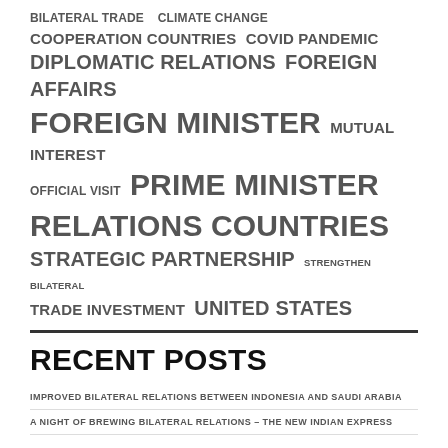[Figure (other): Tag cloud with diplomatic/political terms in varying font sizes: BILATERAL TRADE, CLIMATE CHANGE, COOPERATION COUNTRIES, COVID PANDEMIC, DIPLOMATIC RELATIONS, FOREIGN AFFAIRS, FOREIGN MINISTER, MUTUAL INTEREST, OFFICIAL VISIT, PRIME MINISTER, RELATIONS COUNTRIES, STRATEGIC PARTNERSHIP, STRENGTHEN BILATERAL, TRADE INVESTMENT, UNITED STATES]
RECENT POSTS
IMPROVED BILATERAL RELATIONS BETWEEN INDONESIA AND SAUDI ARABIA
A NIGHT OF BREWING BILATERAL RELATIONS – THE NEW INDIAN EXPRESS